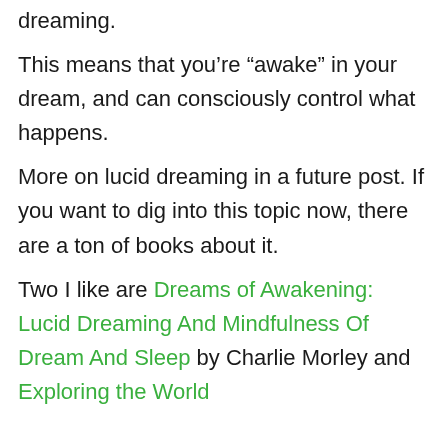dreaming.
This means that you’re “awake” in your dream, and can consciously control what happens.
More on lucid dreaming in a future post. If you want to dig into this topic now, there are a ton of books about it.
Two I like are Dreams of Awakening: Lucid Dreaming And Mindfulness Of Dream And Sleep by Charlie Morley and Exploring the World